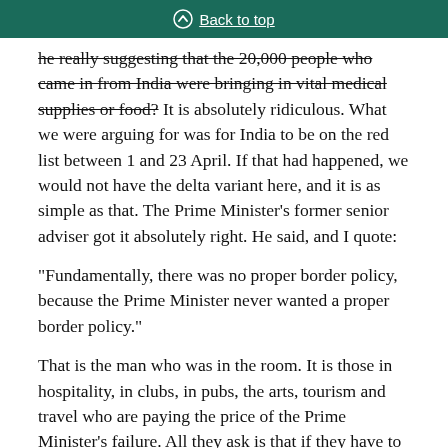Back to top
he really suggesting that the 20,000 people who came in from India were bringing in vital medical supplies or food? It is absolutely ridiculous. What we were arguing for was for India to be on the red list between 1 and 23 April. If that had happened, we would not have the delta variant here, and it is as simple as that. The Prime Minister's former senior adviser got it absolutely right. He said, and I quote:
“Fundamentally, there was no proper border policy, because the Prime Minister never wanted a proper border policy.”
That is the man who was in the room. It is those in hospitality, in clubs, in pubs, the arts, tourism and travel who are paying the price of the Prime Minister’s failure. All they ask is that if they have to